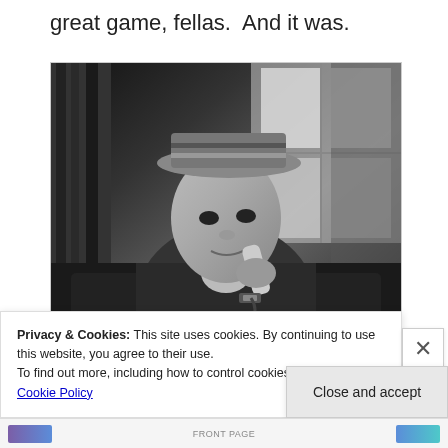great game, fellas.  And it was.
[Figure (photo): Black and white photograph of a man wearing a striped hat, sitting on a leather couch, holding a telephone receiver to his ear. A window with curtains is visible in the background.]
Privacy & Cookies: This site uses cookies. By continuing to use this website, you agree to their use.
To find out more, including how to control cookies, see here: Cookie Policy
Close and accept